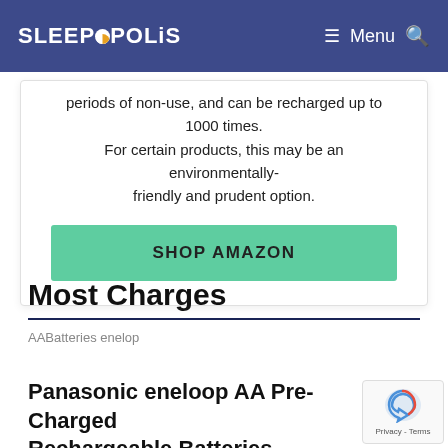SLEEPOPOLIS | Menu
periods of non-use, and can be recharged up to 1000 times. For certain products, this may be an environmentally-friendly and prudent option.
SHOP AMAZON
Most Charges
AABatteries enelop
Panasonic eneloop AA Pre-Charged Rechargeable Batteries